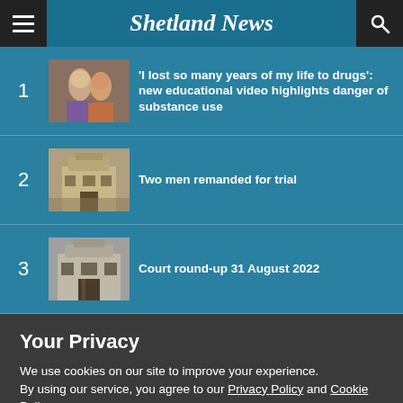Shetland News
1 'I lost so many years of my life to drugs': new educational video highlights danger of substance use
2 Two men remanded for trial
3 Court round-up 31 August 2022
Your Privacy
We use cookies on our site to improve your experience.
By using our service, you agree to our Privacy Policy and Cookie Policy.
I'm OK with that